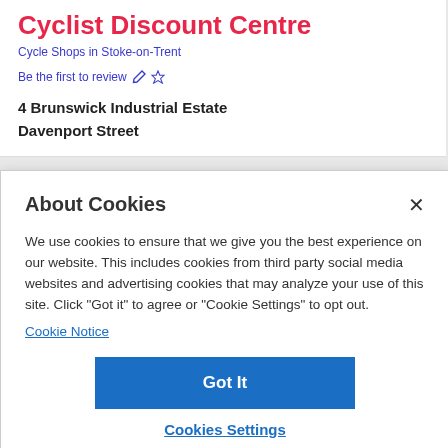Cyclist Discount Centre
Cycle Shops in Stoke-on-Trent
Be the first to review ✏☆
4 Brunswick Industrial Estate
Davenport Street
About Cookies
We use cookies to ensure that we give you the best experience on our website. This includes cookies from third party social media websites and advertising cookies that may analyze your use of this site. Click "Got it" to agree or "Cookie Settings" to opt out.
Cookie Notice
Got It
Cookies Settings